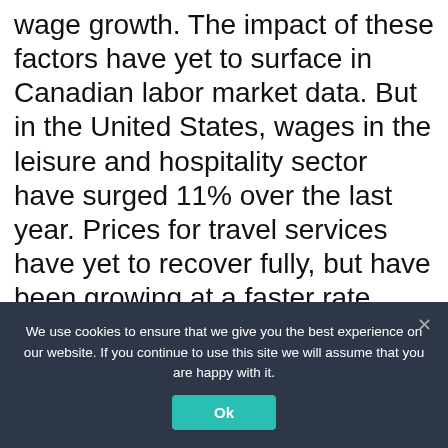wage growth. The impact of these factors have yet to surface in Canadian labor market data. But in the United States, wages in the leisure and hospitality sector have surged 11% over the last year. Prices for travel services have yet to recover fully, but have been growing at a faster rate recently—led by a recovery in airfares.
[Figure (line-chart): Partial line chart showing two series: Travel related employment and Hospitality & tourism job openings, y-axis shows 100% and 80% labels visible]
We use cookies to ensure that we give you the best experience on our website. If you continue to use this site we will assume that you are happy with it.